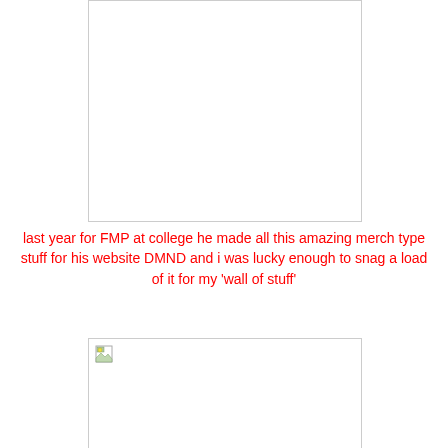[Figure (photo): White empty image box with light grey border, top image placeholder]
last year for FMP at college he made all this amazing merch type stuff for his website DMND and i was lucky enough to snag a load of it for my 'wall of stuff'
[Figure (photo): Image box with a broken image icon in top-left corner, bottom image placeholder]